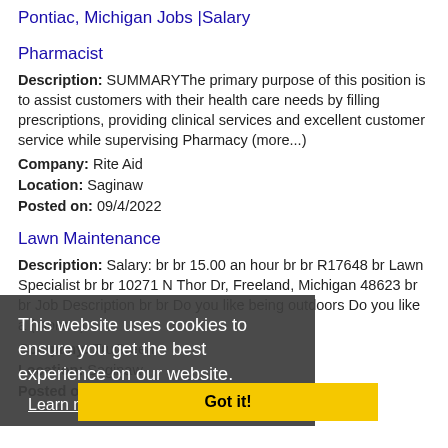Pontiac, Michigan Jobs |Salary
Pharmacist
Description: SUMMARYThe primary purpose of this position is to assist customers with their health care needs by filling prescriptions, providing clinical services and excellent customer service while supervising Pharmacy (more...)
Company: Rite Aid
Location: Saginaw
Posted on: 09/4/2022
Lawn Maintenance
Description: Salary: br br 15.00 an hour br br R17648 br Lawn Specialist br br 10271 N Thor Dr, Freeland, Michigan 48623 br br Job Description br br Do you like being outdoors Do you like a (more...)
Company: TruGreen
Location: Saginaw
Posted on: 09/4/2022
This website uses cookies to ensure you get the best experience on our website. Learn more
Got it!
Sales Associate LensCrafters
Description: Requisition ID: 715322 br br Store : 005591 LensCrafters br br Position:Part-Time br br Total Rewards: Benefits/Incentive Information br br At LensCrafters, we're